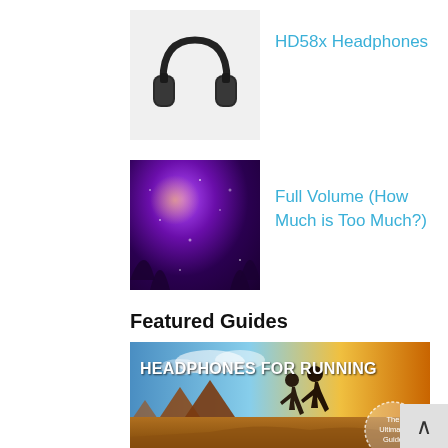[Figure (photo): Black over-ear HD58x headphones on white background]
HD58x Headphones
[Figure (photo): Purple galaxy/nebula image with bright light source]
Full Volume (How Much is Too Much?)
Featured Guides
[Figure (photo): Banner image: two runners silhouetted against sunset in Monument Valley desert landscape with text HEADPHONES FOR RUNNING and a badge reading The Ultimate Guide]
[Figure (photo): Banner image: blue background with text HEADPHONES FOR TRAVEL and a partial image of headphones at bottom]